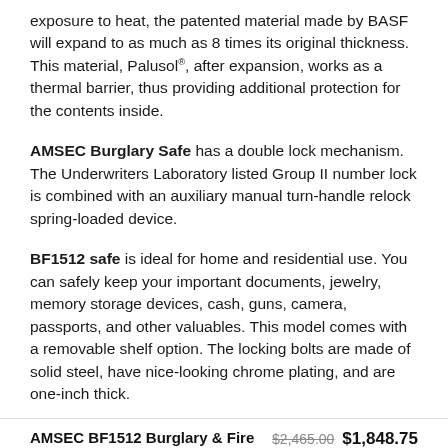exposure to heat, the patented material made by BASF will expand to as much as 8 times its original thickness. This material, Palusol®, after expansion, works as a thermal barrier, thus providing additional protection for the contents inside.
AMSEC Burglary Safe has a double lock mechanism. The Underwriters Laboratory listed Group II number lock is combined with an auxiliary manual turn-handle relock spring-loaded device.
BF1512 safe is ideal for home and residential use. You can safely keep your important documents, jewelry, memory storage devices, cash, guns, camera, passports, and other valuables. This model comes with a removable shelf option. The locking bolts are made of solid steel, have nice-looking chrome plating, and are one-inch thick.
AMSEC BF1512 Burglary & Fire
$2,465.00  $1,848.75